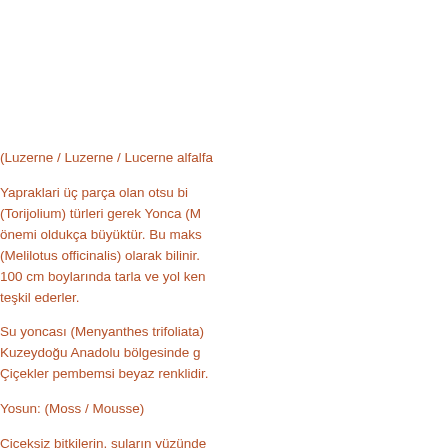(Luzerne / Luzerne / Lucerne alfalfa
Yapraklari üç parça olan otsu bi (Torijolium) türleri gerek Yonca (M önemi oldukça büyüktür. Bu maks (Melilotus officinalis) olarak bilinir. 100 cm boylarında tarla ve yol ken teşkil ederler.
Su yoncası (Menyanthes trifoliata) Kuzeydoğu Anadolu bölgesinde g Çiçekler pembemsi beyaz renklidir.
Yosun: (Moss / Mousse)
Çiçeksiz bitkilerin, suların yüzünde
Zencefil: (Zencebil / Zingiber / Ging